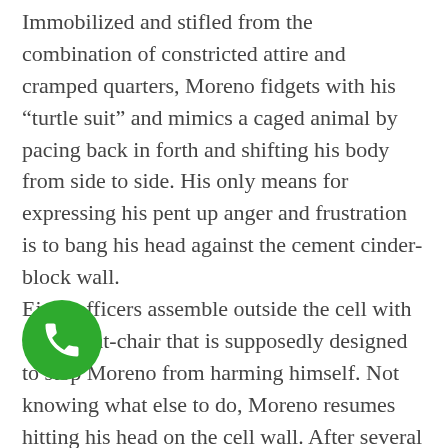Immobilized and stifled from the combination of constricted attire and cramped quarters, Moreno fidgets with his “turtle suit” and mimics a caged animal by pacing back in forth and shifting his body from side to side. His only means for expressing his pent up anger and frustration is to bang his head against the cement cinder-block wall. Eight officers assemble outside the cell with a restraint-chair that is supposedly designed to stop Moreno from harming himself. Not knowing what else to do, Moreno resumes hitting his head on the cell wall. After several minutes a correctional officer asks Moreno to stop pounding his head against the wall — Moreno’s only possible response to the emotional horror he is going through. Moreno lets the officer know he doesn’t care about anything and resorts to yelling obscenities.
[Figure (illustration): Green circle phone icon (call button) overlaid on the text in the lower-left area of the page]